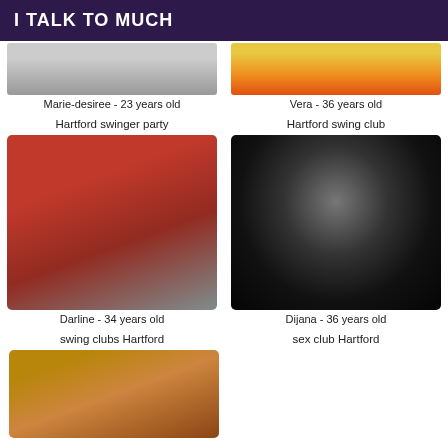I TALK TO MUCH
Marie-desiree - 23 years old
Vera - 36 years old
Hartford swinger party
[Figure (photo): Woman in red bodysuit posing on bed - Darline]
Darline - 34 years old
[Figure (photo): Black and white photo of an eye viewed through a keyhole - Dijana]
Dijana - 36 years old
Hartford swing club
swing clubs Hartford
sex club Hartford
[Figure (photo): Woman with glasses, partial face visible]